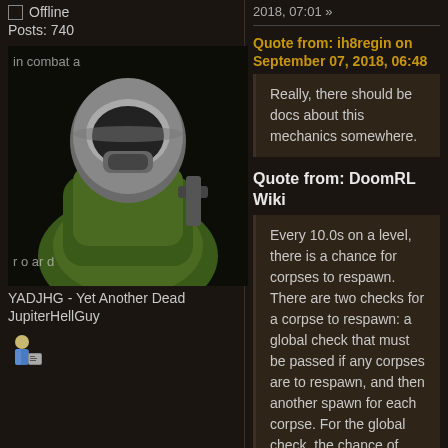Offline
Posts: 740
[Figure (photo): Avatar image of a space marine character with a helmet, holding a gun, green suit visible]
YADJHG - Yet Another Dead JupiterHellGuy
[Figure (illustration): User rank icon - small person with badge]
2018, 07:01 »
Quote from: ih8regin on September 07, 2018, 06:48
Really, there should be docs about this mechanics somewhere.
Quote from: DoomRL Wiki
Every 10.0s on a level, there is a chance for corpses to respawn. There are two checks for a corpse to respawn: a global check that must be passed if any corpses are to respawn, and then another spawn for each corpse. For the global check, the chance of passing starts at 20% when entering the level and grows by 1% for each subsequent check. The